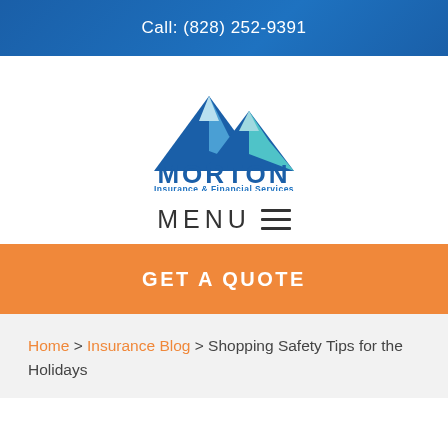Call: (828) 252-9391
[Figure (logo): Morton Insurance & Financial Services logo with blue mountain peaks above the company name]
MENU ≡
GET A QUOTE
Home > Insurance Blog > Shopping Safety Tips for the Holidays